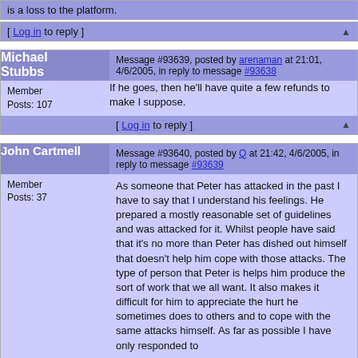is a loss to the platform.
[ Log in to reply ]
Michael Stubbs
Message #93639, posted by arenaman at 21:01, 4/6/2005, in reply to message #93638
Member
Posts: 107
If he goes, then he'll have quite a few refunds to make I suppose.
[ Log in to reply ]
John Cartmell
Message #93640, posted by Q at 21:42, 4/6/2005, in reply to message #93639
Member
Posts: 37
As someone that Peter has attacked in the past I have to say that I understand his feelings. He prepared a mostly reasonable set of guidelines and was attacked for it. Whilst people have said that it's no more than Peter has dished out himself that doesn't help him cope with those attacks. The type of person that Peter is helps him produce the sort of work that we all want. It also makes it difficult for him to appreciate the hurt he sometimes does to others and to cope with the same attacks himself. As far as possible I have only responded to